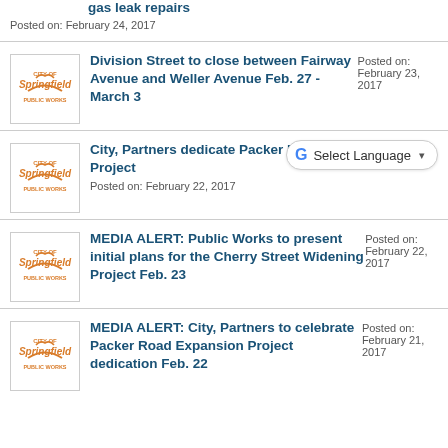gas leak repairs
Posted on: February 24, 2017
Division Street to close between Fairway Avenue and Weller Avenue Feb. 27 - March 3
Posted on: February 23, 2017
City, Partners dedicate Packer Road Expansion Project
Posted on: February 22, 2017
MEDIA ALERT: Public Works to present initial plans for the Cherry Street Widening Project Feb. 23
Posted on: February 22, 2017
MEDIA ALERT: City, Partners to celebrate Packer Road Expansion Project dedication Feb. 22
Posted on: February 21, 2017